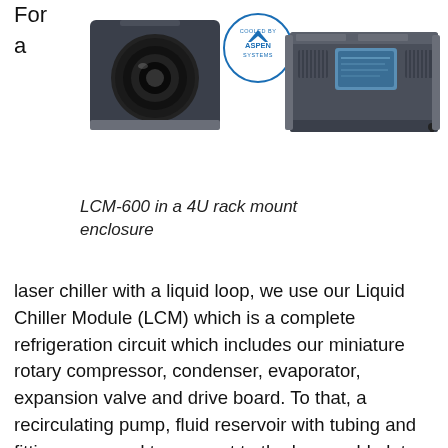For
a
[Figure (photo): Photo of LCM-600 laser chiller camera unit on the left and a 4U rack mount enclosure unit on the right, with a 'Cooled by Aspen Systems' badge/logo between them.]
LCM-600 in a 4U rack mount enclosure
laser chiller with a liquid loop, we use our Liquid Chiller Module (LCM) which is a complete refrigeration circuit which includes our miniature rotary compressor, condenser, evaporator, expansion valve and drive board. To that, a recirculating pump, fluid reservoir with tubing and fittings are used to connect to the laser cold plate.  The liquid chiller module is compact enough to integrate into a 4U rack mount chassis or smaller enclosure.